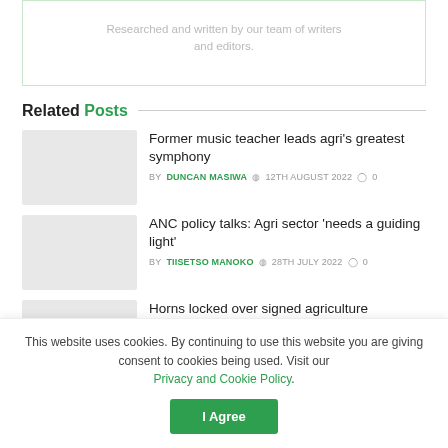Researched and written by our team of writers and editors.
Related Posts
Former music teacher leads agri's greatest symphony
BY DUNCAN MASIWA  12TH AUGUST 2022  0
ANC policy talks: Agri sector 'needs a guiding light'
BY TIISETSO MANOKO  28TH JULY 2022  0
Horns locked over signed agriculture
This website uses cookies. By continuing to use this website you are giving consent to cookies being used. Visit our Privacy and Cookie Policy.